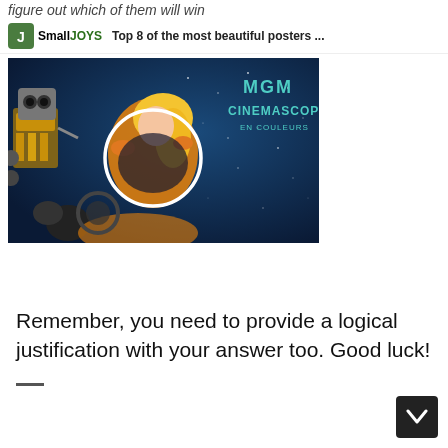figure out which of them will win
SmallJOYS  Top 8 of the most beautiful posters ...
[Figure (photo): Movie poster showing a vintage sci-fi scene with a robot and a woman, text reading MGM CinemaScope en couleurs, with a white circle drawn on the poster]
Remember, you need to provide a logical justification with your answer too. Good luck!